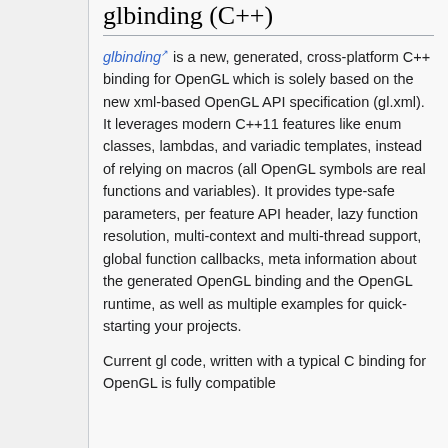glbinding (C++)
glbinding is a new, generated, cross-platform C++ binding for OpenGL which is solely based on the new xml-based OpenGL API specification (gl.xml). It leverages modern C++11 features like enum classes, lambdas, and variadic templates, instead of relying on macros (all OpenGL symbols are real functions and variables). It provides type-safe parameters, per feature API header, lazy function resolution, multi-context and multi-thread support, global function callbacks, meta information about the generated OpenGL binding and the OpenGL runtime, as well as multiple examples for quick-starting your projects.
Current gl code, written with a typical C binding for OpenGL is fully compatible